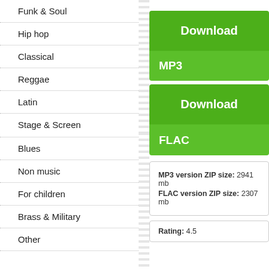Funk & Soul
Hip hop
Classical
Reggae
Latin
Stage & Screen
Blues
Non music
For children
Brass & Military
Other
[Figure (screenshot): Download MP3 button (green)]
[Figure (screenshot): Download FLAC button (green)]
MP3 version ZIP size: 2941 mb
FLAC version ZIP size: 2307 mb
Rating: 4.5